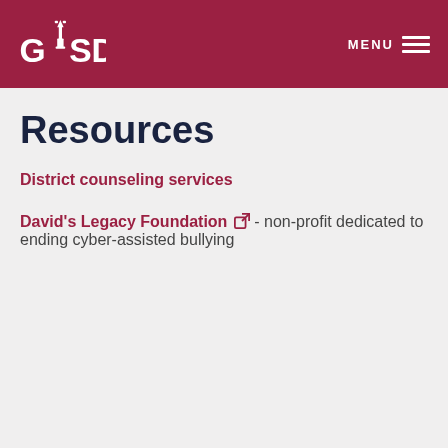GISD — MENU
Resources
District counseling services
David's Legacy Foundation [external link] - non-profit dedicated to ending cyber-assisted bullying